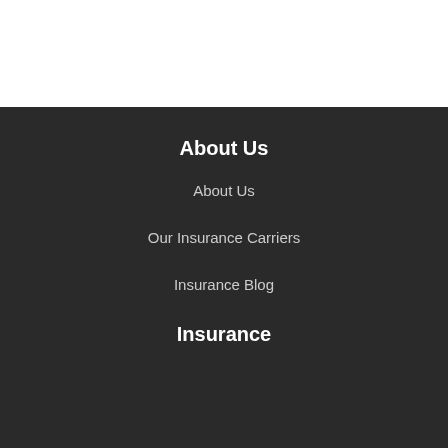About Us
About Us
Our Insurance Carriers
Insurance Blog
Insurance